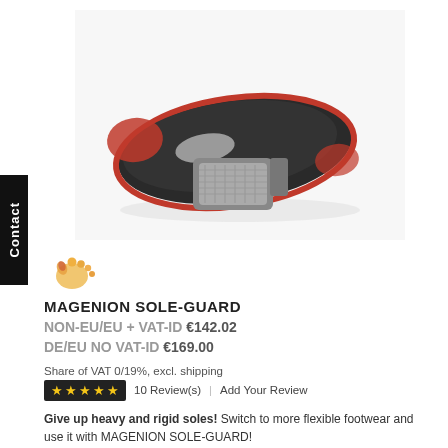[Figure (photo): Product photo of Magenion Sole-Guard sandal/flip-flop with black sole with red trim and grey strap, shown from underside/side angle.]
[Figure (logo): Small logo with cartoon feet/footprint icon in orange-yellow tones.]
MAGENION SOLE-GUARD
NON-EU/EU + VAT-ID €142.02
DE/EU NO VAT-ID €169.00
Share of VAT 0/19%, excl. shipping
★★★★★  10 Review(s)  |  Add Your Review
Give up heavy and rigid soles! Switch to more flexible footwear and use it with MAGENION SOLE-GUARD!